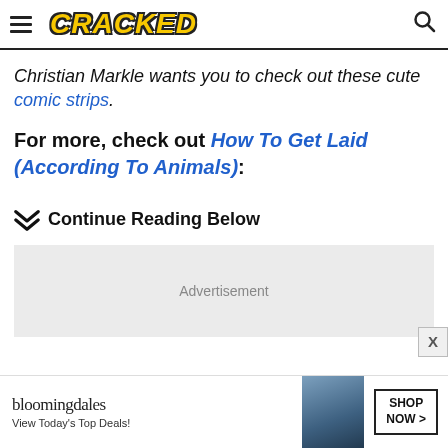CRACKED
Christian Markle wants you to check out these cute comic strips.
For more, check out How To Get Laid (According To Animals):
Continue Reading Below
[Figure (other): Advertisement placeholder box]
[Figure (other): Bloomingdales advertisement banner: View Today's Top Deals! SHOP NOW >]